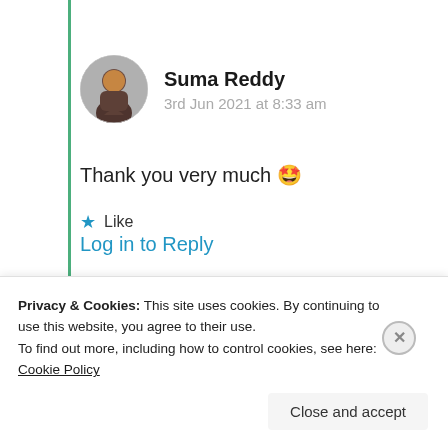[Figure (photo): Circular avatar photo of Suma Reddy, a woman with dark hair]
Suma Reddy
3rd Jun 2021 at 8:33 am
Thank you very much 🤩
★ Like
Log in to Reply
Advertisements
[Figure (infographic): Red banner advertisement for Pocket Casts app: 'An app by listeners, for listeners.' with phone image and Pocket Casts logo]
REPORT THIS AD
Privacy & Cookies: This site uses cookies. By continuing to use this website, you agree to their use.
To find out more, including how to control cookies, see here: Cookie Policy
Close and accept